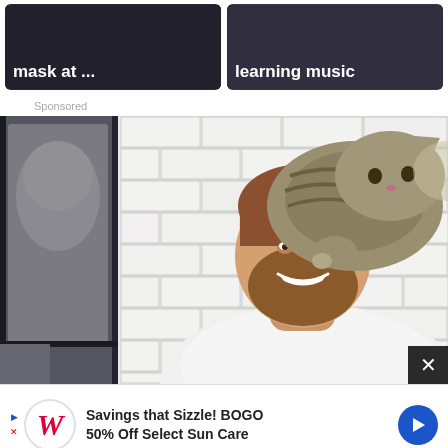[Figure (screenshot): Two thumbnail cards side by side at top. Left card shows dark background with bold white text 'mask at ...'. Right card shows dark background with bold white text 'learning music'.]
Sponsored
[Figure (photo): A man with a beard and white t-shirt is leaning over a bathroom sink in front of a mirror. A large tabby cat is sitting on his back/shoulder area, appearing to groom his hair with a comb. The bathroom has white subway tiles. A gray towel hangs on the left.]
[Figure (screenshot): Advertisement banner at bottom: Walgreens ad with text 'Savings that Sizzle! BOGO 50% Off Select Sun Care' with Walgreens W logo and blue directional arrow button.]